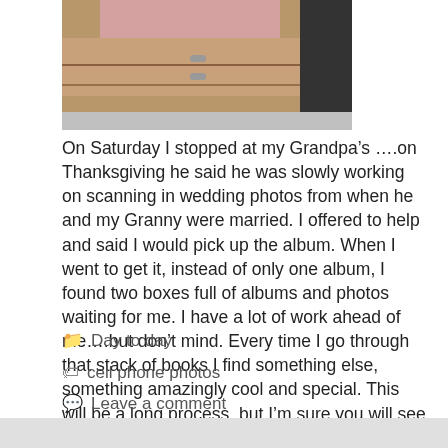[Figure (photo): Photo of cardboard boxes with drawers stacked, partially visible, against a dark background, showing a pinkish interior.]
On Saturday I stopped at my Grandpa's ....on Thanksgiving he said he was slowly working on scanning in wedding photos from when he and my Granny were married. I offered to help and said I would pick up the album. When I went to get it, instead of only one album, I found two boxes full of albums and photos waiting for me. I have a lot of work ahead of me....but don’t mind. Every time I go through that stack of books I find something else, something amazingly cool and special. This will be a long process, but I’m sure you will see bits of it here.
Day to day
cell phone photos
Leave a comment